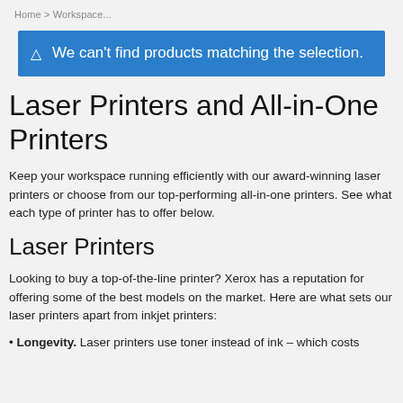Home > Workspace...
We can't find products matching the selection.
Laser Printers and All-in-One Printers
Keep your workspace running efficiently with our award-winning laser printers or choose from our top-performing all-in-one printers. See what each type of printer has to offer below.
Laser Printers
Looking to buy a top-of-the-line printer? Xerox has a reputation for offering some of the best models on the market. Here are what sets our laser printers apart from inkjet printers:
Longevity. Laser printers use toner instead of ink – which costs